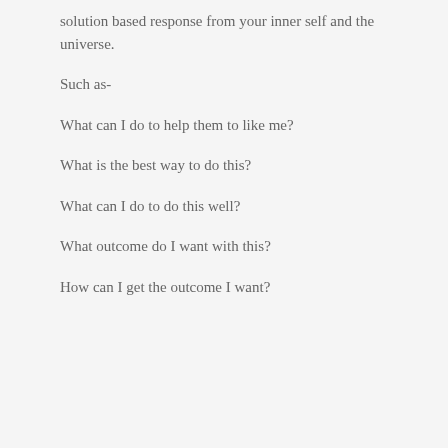solution based response from your inner self and the universe.
Such as-
What can I do to help them to like me?
What is the best way to do this?
What can I do to do this well?
What outcome do I want with this?
How can I get the outcome I want?